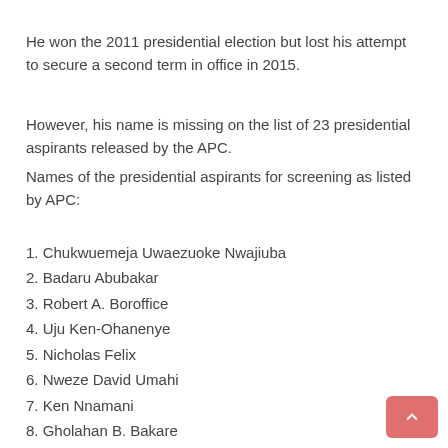He won the 2011 presidential election but lost his attempt to secure a second term in office in 2015.
However, his name is missing on the list of 23 presidential aspirants released by the APC.
Names of the presidential aspirants for screening as listed by APC:
1. Chukwuemeja Uwaezuoke Nwajiuba
2. Badaru Abubakar
3. Robert A. Boroffice
4. Uju Ken-Ohanenye
5. Nicholas Felix
6. Nweze David Umahi
7. Ken Nnamani
8. Gholahan B. Bakare